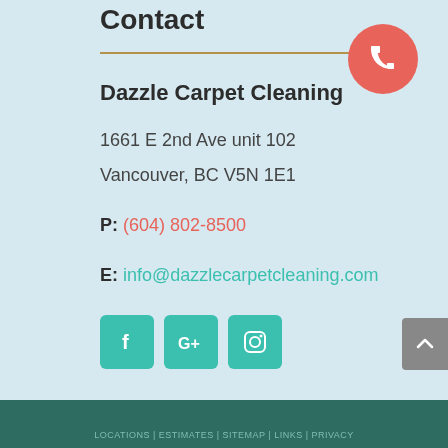Contact
Dazzle Carpet Cleaning
1661 E 2nd Ave unit 102
Vancouver, BC V5N 1E1
P: (604) 802-8500
E: info@dazzlecarpetcleaning.com
[Figure (infographic): Social media icons: Facebook (f), Google+ (G+), Instagram (camera icon), all in teal rounded square buttons. A coral/red circular phone icon in the top right. A grey scroll-to-top button on the right edge.]
LOCATIONS | ESTIMATES | SITEMAP | LINKS | PRIVACY